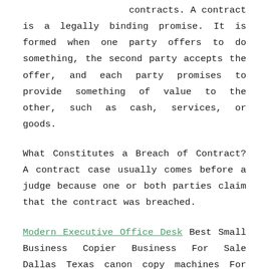contracts. A contract is a legally binding promise. It is formed when one party offers to do something, the second party accepts the offer, and each party promises to provide something of value to the other, such as cash, services, or goods.
What Constitutes a Breach of Contract? A contract case usually comes before a judge because one or both parties claim that the contract was breached.
Modern Executive Office Desk Best Small Business Copier Business For Sale Dallas Texas canon copy machines For small business brother monochrome laser printer, Multifunction Printer and Copier, DCP-L5650DN, Flexible Network Connectivity, Duplex Print & Copy & Scan, Mobile